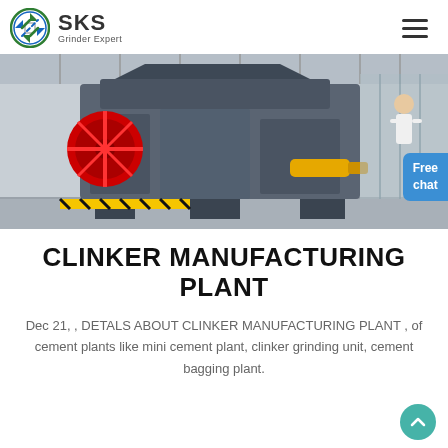SKS Grinder Expert
[Figure (photo): Industrial grinding/crushing machine in a large factory hall. Large grey metal crushing equipment with a red flywheel on the left side and a yellow component visible. A person in white stands to the right. Blue and white industrial building interior in background. Free chat button overlay in bottom right.]
CLINKER MANUFACTURING PLANT
Dec 21, , DETALS ABOUT CLINKER MANUFACTURING PLANT , of cement plants like mini cement plant, clinker grinding unit, cement bagging plant.